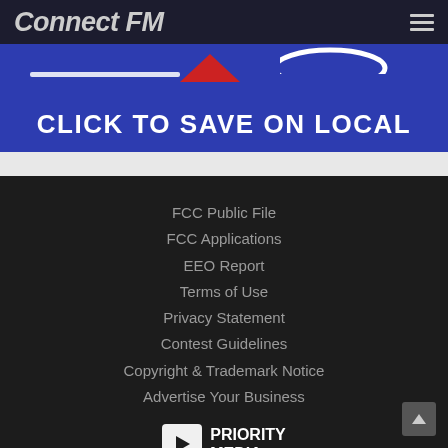Connect FM
[Figure (illustration): Blue banner with red arrow graphic and white curved shape, with bold white text 'CLICK TO SAVE ON LOCAL']
FCC Public File
FCC Applications
EEO Report
Terms of Use
Privacy Statement
Contest Guidelines
Copyright & Trademark Notice
Advertise Your Business
[Figure (logo): Priority Media logo with play button icon]